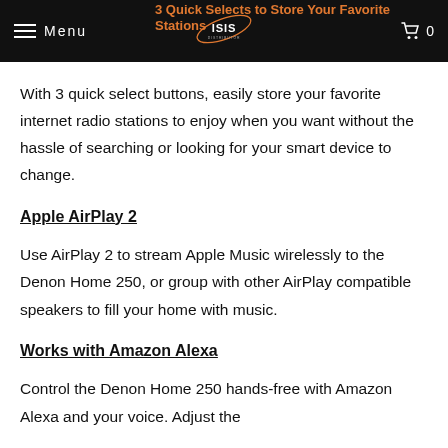Menu  [ISIS logo]  0
3 Quick Selects to Store Your Favorite Stations
With 3 quick select buttons, easily store your favorite internet radio stations to enjoy when you want without the hassle of searching or looking for your smart device to change.
Apple AirPlay 2
Use AirPlay 2 to stream Apple Music wirelessly to the Denon Home 250, or group with other AirPlay compatible speakers to fill your home with music.
Works with Amazon Alexa
Control the Denon Home 250 hands-free with Amazon Alexa and your voice. Adjust the